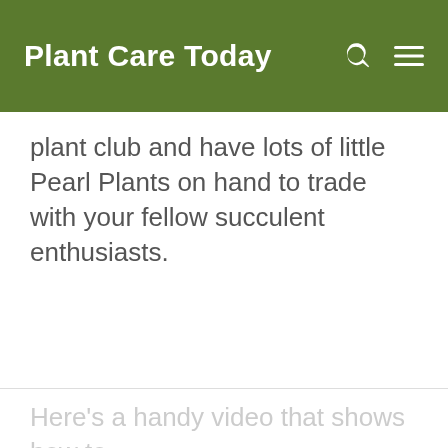Plant Care Today
plant club and have lots of little Pearl Plants on hand to trade with your fellow succulent enthusiasts.
Here's a handy video that shows how to